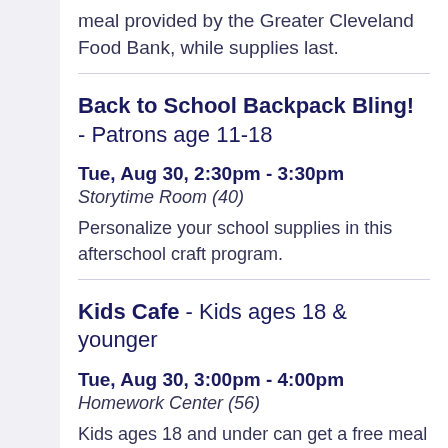meal provided by the Greater Cleveland Food Bank, while supplies last.
Back to School Backpack Bling! - Patrons age 11-18
Tue, Aug 30, 2:30pm - 3:30pm
Storytime Room (40)
Personalize your school supplies in this afterschool craft program.
Kids Cafe - Kids ages 18 & younger
Tue, Aug 30, 3:00pm - 4:00pm
Homework Center (56)
Kids ages 18 and under can get a free meal provided by the Greater Cleveland